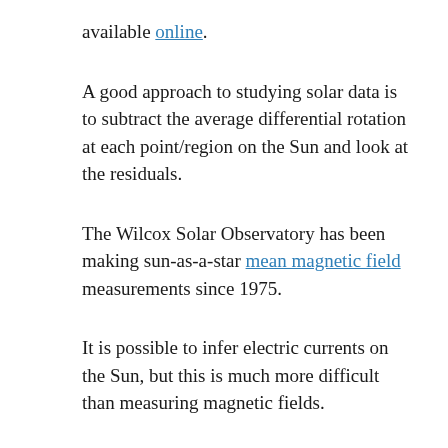available online.
A good approach to studying solar data is to subtract the average differential rotation at each point/region on the Sun and look at the residuals.
The Wilcox Solar Observatory has been making sun-as-a-star mean magnetic field measurements since 1975.
It is possible to infer electric currents on the Sun, but this is much more difficult than measuring magnetic fields.
Future directions in solar studies: moving from